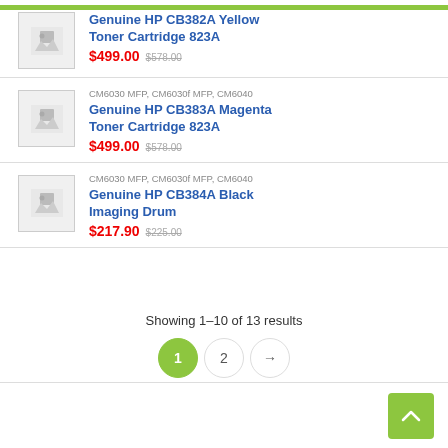[Figure (photo): Placeholder image for HP CB382A Yellow Toner Cartridge 823A]
Genuine HP CB382A Yellow Toner Cartridge 823A
$499.00  $578.00
[Figure (photo): Placeholder image for HP CB383A Magenta Toner Cartridge 823A]
CM6030 MFP, CM6030f MFP, CM6040
Genuine HP CB383A Magenta Toner Cartridge 823A
$499.00  $578.00
[Figure (photo): Placeholder image for HP CB384A Black Imaging Drum]
CM6030 MFP, CM6030f MFP, CM6040
Genuine HP CB384A Black Imaging Drum
$217.90  $225.00
Showing 1–10 of 13 results